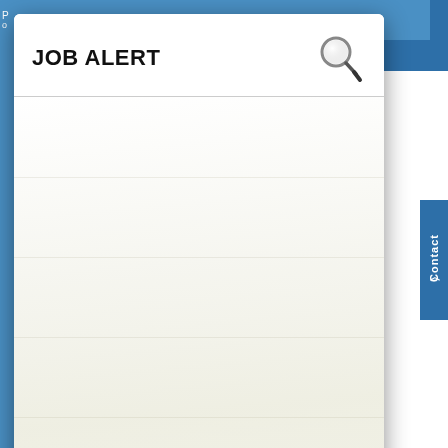JOB ALERT
JOB SUMMARY
Help
Kindergarten
沪ICP备14035620号
· IB Homeroom
· Zhongshan
· Teaching
· Contract
· Schedule
· Maximum
· Smartboard
IB Homeroom teacher. In IB increase students
• Manage, organize
• Report to
• Effectively
• Work collaboratively
assessment